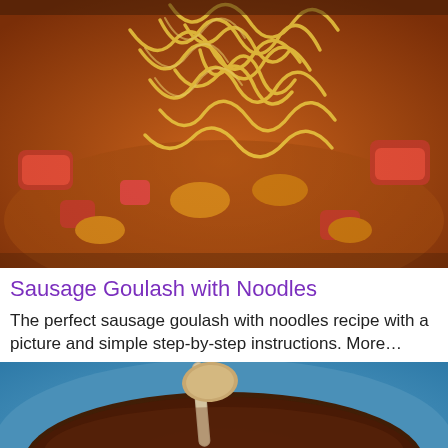[Figure (photo): Close-up photo of sausage goulash with yellow egg noodles on top, showing chunky red sausage pieces and sauce in a dark pan.]
Sausage Goulash with Noodles
The perfect sausage goulash with noodles recipe with a picture and simple step-by-step instructions. More…
[Figure (photo): Photo of a dark hearty sausage goulash soup with corn, red peppers, beans, and sliced sausages in a blue bowl, with a spoon dipping in.]